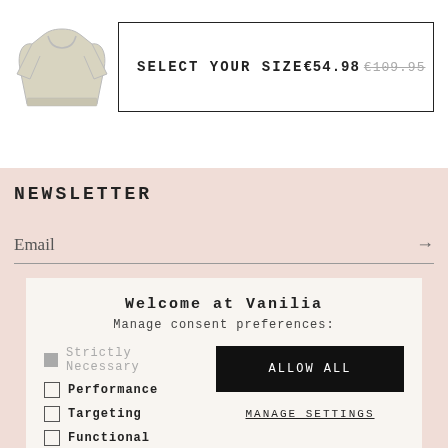[Figure (illustration): Small product thumbnail of a light cream/white knit sweater]
SELECT YOUR SIZE €54.98 €109.95
NEWSLETTER
Email →
Welcome at Vanilia
Manage consent preferences:
Strictly Necessary
Performance
Targeting
Functional
ALLOW ALL
MANAGE SETTINGS